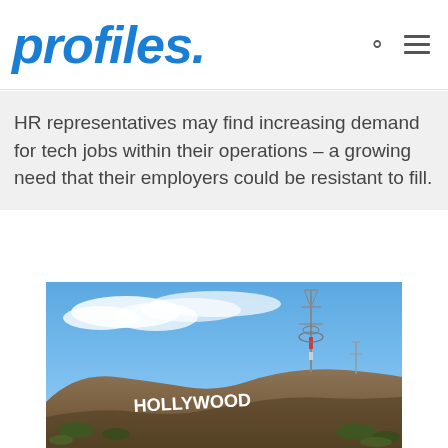profiles
HR representatives may find increasing demand for tech jobs within their operations – a growing need that their employers could be resistant to fill.
[Figure (photo): Photograph of the Hollywood sign on a hillside under a blue sky with clouds, with a communications tower visible to the right.]